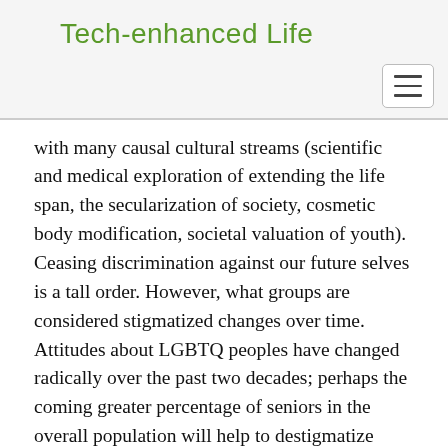Tech-enhanced Life
with many causal cultural streams (scientific and medical exploration of extending the life span, the secularization of society, cosmetic body modification, societal valuation of youth). Ceasing discrimination against our future selves is a tall order. However, what groups are considered stigmatized changes over time. Attitudes about LGBTQ peoples have changed radically over the past two decades; perhaps the coming greater percentage of seniors in the overall population will help to destigmatize aging and the elderly.
In the short term, however, holistic design that